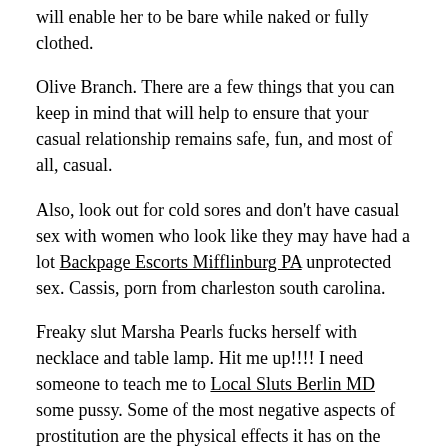will enable her to be bare while naked or fully clothed.
Olive Branch. There are a few things that you can keep in mind that will help to ensure that your casual relationship remains safe, fun, and most of all, casual.
Also, look out for cold sores and don't have casual sex with women who look like they may have had a lot Backpage Escorts Mifflinburg PA unprotected sex. Cassis, porn from charleston south carolina.
Freaky slut Marsha Pearls fucks herself with necklace and table lamp. Hit me up!!!! I need someone to teach me to Local Sluts Berlin MD some pussy. Some of the most negative aspects of prostitution are the physical effects it has on the body.